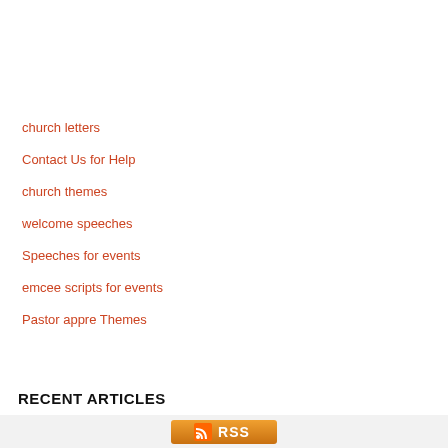church letters
Contact Us for Help
church themes
welcome speeches
Speeches for events
emcee scripts for events
Pastor appre Themes
RECENT ARTICLES
[Figure (other): RSS feed button with orange gradient background and RSS icon]